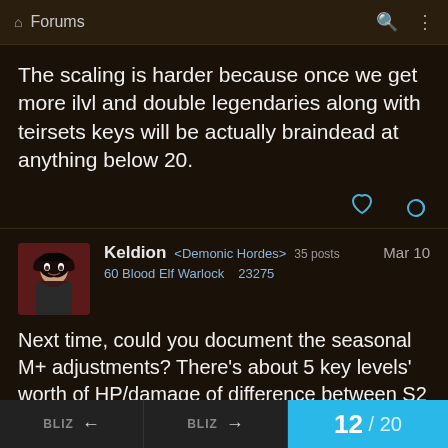Forums
The scaling is harder because once we get more ilvl and double legendaries along with teirsets keys will be actually braindead at anything below 20.
Keldion <Demonic Hordes> 35 posts  Mar 10
60 Blood Elf Warlock  23275
Next time, could you document the seasonal M+ adjustments? There's about 5 key levels' worth of HP/damage of difference between S2 / S3 that somehow never made it into the patch notes.
BLIZ ← BLIZ → 12 / 20